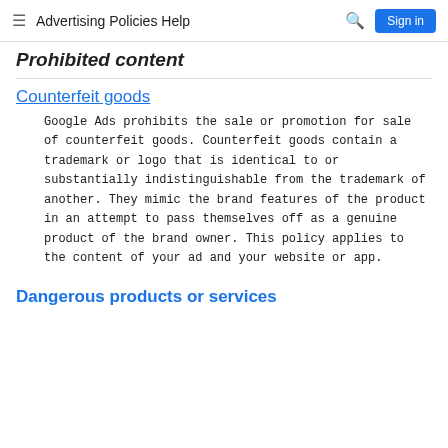Advertising Policies Help
Prohibited content
Counterfeit goods
Google Ads prohibits the sale or promotion for sale of counterfeit goods. Counterfeit goods contain a trademark or logo that is identical to or substantially indistinguishable from the trademark of another. They mimic the brand features of the product in an attempt to pass themselves off as a genuine product of the brand owner. This policy applies to the content of your ad and your website or app.
Dangerous products or services